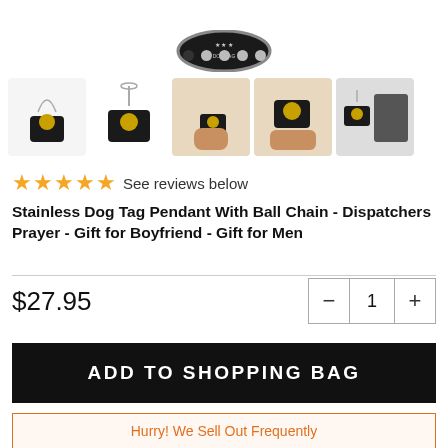[Figure (photo): Main product image of a black dog tag pendant necklace with gold emblem, shown in circular crop with silver border, above carousel navigation dots]
[Figure (photo): Five thumbnail images of the dog tag pendant: 1) on chain on white, 2) pendant close-up, 3) held in fist, 4) held in palm showing front, 5) beside box packaging]
★★★★★ See reviews below
Stainless Dog Tag Pendant With Ball Chain - Dispatchers Prayer - Gift for Boyfriend - Gift for Men
$27.95
ADD TO SHOPPING BAG
Hurry! We Sell Out Frequently